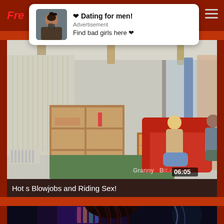[Figure (screenshot): Website header with red background showing partial logo text 'Fre' on left and hamburger menu icon on right]
[Figure (infographic): Advertisement overlay popup with white card showing a person's selfie photo, bold text '❤ Dating for men!', label 'Advertisement', and subtext 'Find bad girls here ❤']
[Figure (photo): Video thumbnail showing two people sitting on a red couch in a room with shelving units, blue curtain room divider in background. Timestamp 06:05 shown in bottom right. GrannyBit.com watermark visible.]
Hot s Blowjobs and Riding Sex!
[Figure (photo): Partial second video thumbnail showing dark scene with colorful background and dark hair visible, cut off at bottom of page.]